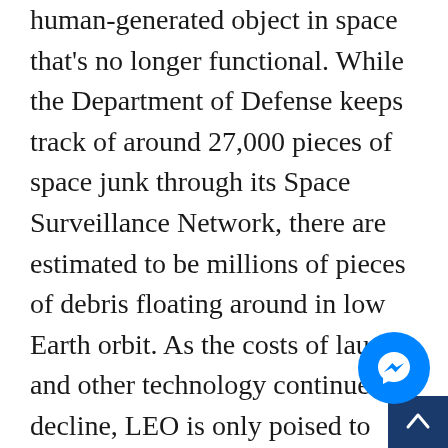human-generated object in space that's no longer functional. While the Department of Defense keeps track of around 27,000 pieces of space junk through its Space Surveillance Network, there are estimated to be millions of pieces of debris floating around in low Earth orbit. As the costs of launch and other technology continues to decline, LEO is only poised to grow more crowded in the coming years – which could mean more useless junk floating around us in the long-term.
The launch with Rocket Lab later this year is the opportunity for the company to